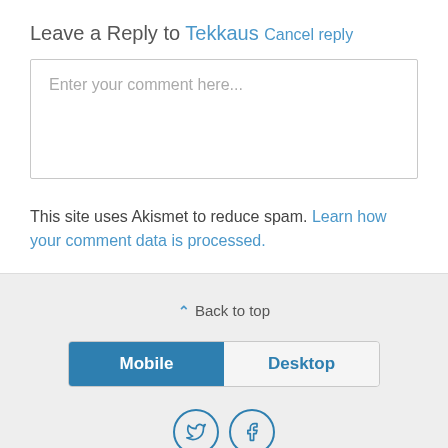Leave a Reply to Tekkaus Cancel reply
[Figure (screenshot): Comment text input box with placeholder text 'Enter your comment here...']
This site uses Akismet to reduce spam. Learn how your comment data is processed.
Back to top | Mobile | Desktop | Twitter | Facebook social icons